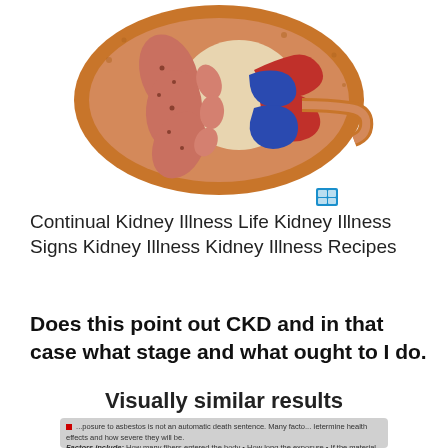[Figure (illustration): Cross-section anatomical illustration of a human kidney showing internal structures including renal pyramids (pink/salmon colored), blood vessels (red and blue), and surrounding tissue (brown/orange outer layer). A small blue grid icon appears in the lower right of the image.]
Continual Kidney Illness Life Kidney Illness Signs Kidney Illness Kidney Illness Recipes
Does this point out CKD and in that case what stage and what ought to I do.
Visually similar results
...posure to asbestos is not an automatic death sentence. Many facto... Ietermine health effects and how severe they will be. Factors include: How many fibers entered the body • How long the exposure • If the material was inhaled or consumed in food or drink